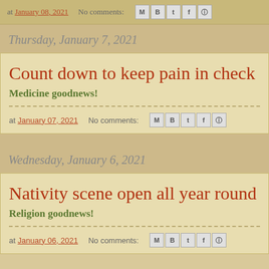at January 08, 2021   No comments:
Thursday, January 7, 2021
Count down to keep pain in check
Medicine goodnews!
at January 07, 2021   No comments:
Wednesday, January 6, 2021
Nativity scene open all year round
Religion goodnews!
at January 06, 2021   No comments: